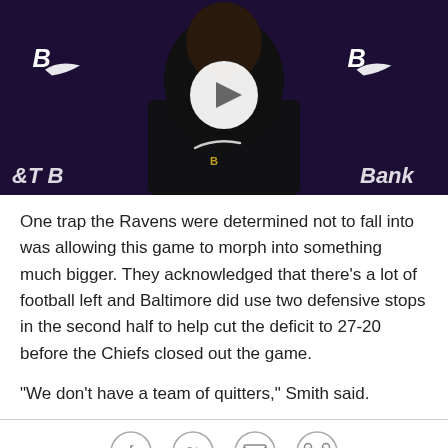[Figure (screenshot): Video thumbnail showing a Baltimore Ravens player in a black Nike sleeveless shirt at a press conference with Ravens purple backdrop and AT&T Bank branding, with a white circular play button overlay in the center.]
One trap the Ravens were determined not to fall into was allowing this game to morph into something much bigger. They acknowledged that there's a lot of football left and Baltimore did use two defensive stops in the second half to help cut the deficit to 27-20 before the Chiefs closed out the game.
"We don't have a team of quitters," Smith said.
[Figure (infographic): Social sharing icons row: Facebook, Twitter, Email/envelope, and link/chain icons in circular outlines.]